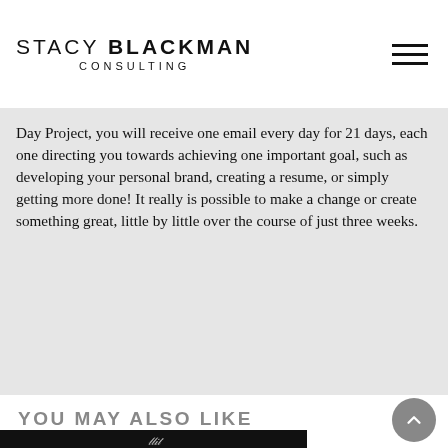STACY BLACKMAN CONSULTING
Day Project, you will receive one email every day for 21 days, each one directing you towards achieving one important goal, such as developing your personal brand, creating a resume, or simply getting more done! It really is possible to make a change or create something great, little by little over the course of just three weeks.
YOU MAY ALSO LIKE
[Figure (photo): Bottom portion of a photo with dark background showing a partially visible white object with handwritten-style text, cut off at page bottom.]